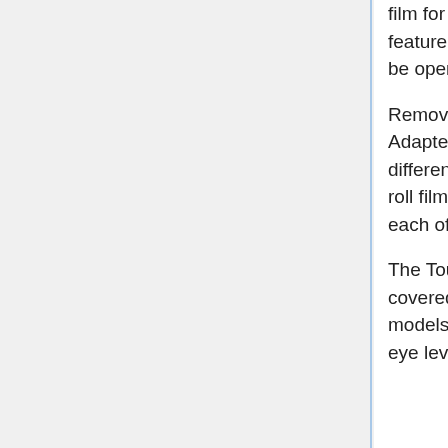film for 8 28×40mm exposures was an option. The Tourist's most unusual feature is its back; through the use of cleverly engineered latches, it can be opened on the left side, right side, or removed completely.
Removing the back allows the use of the multi-format Kodak Tourist Adapter Kit, which consists of: a camera back with red windows for 4 different formats; 2¼×2¼ inch, 2¼×1⅝ inch and 28×40mm masks; 828 roll film supply and take up spool adapters; and viewfinder masks for each of the three additional formats.
The Tourists are well made and feature a die cast aluminum body, covered in black Kodadur, a synthetic leather of remarkable durability. All models feature a tripod socket, a lens door mounted shutter release, and eye level